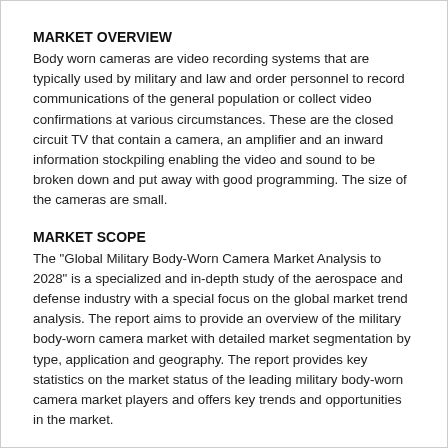MARKET OVERVIEW
Body worn cameras are video recording systems that are typically used by military and law and order personnel to record communications of the general population or collect video confirmations at various circumstances. These are the closed circuit TV that contain a camera, an amplifier and an inward information stockpiling enabling the video and sound to be broken down and put away with good programming. The size of the cameras are small.
MARKET SCOPE
The "Global Military Body-Worn Camera Market Analysis to 2028" is a specialized and in-depth study of the aerospace and defense industry with a special focus on the global market trend analysis. The report aims to provide an overview of the military body-worn camera market with detailed market segmentation by type, application and geography. The report provides key statistics on the market status of the leading military body-worn camera market players and offers key trends and opportunities in the market.
MARKET SEGMENTATION